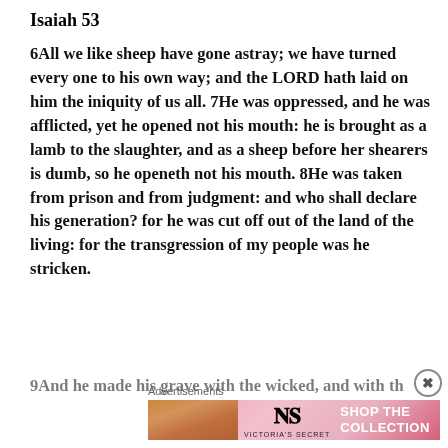Isaiah 53
6All we like sheep have gone astray; we have turned every one to his own way; and the LORD hath laid on him the iniquity of us all. 7He was oppressed, and he was afflicted, yet he opened not his mouth: he is brought as a lamb to the slaughter, and as a sheep before her shearers is dumb, so he openeth not his mouth. 8He was taken from prison and from judgment: and who shall declare his generation? for he was cut off out of the land of the living: for the transgression of my people was he stricken.
9And he made his grave with the wicked, and with th
[Figure (infographic): Victoria's Secret advertisement banner showing a woman's face, VS logo, 'SHOP THE COLLECTION' text, and 'SHOP NOW' button on a pink background]
Advertisements